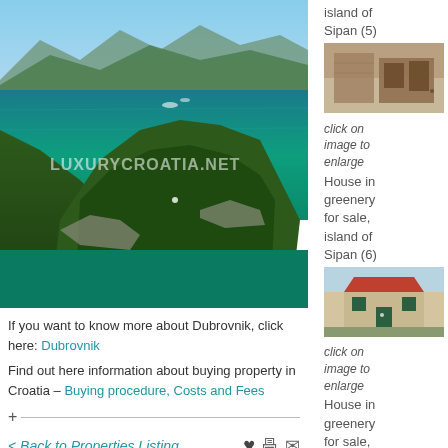[Figure (photo): Aerial photo of Croatian island coastline with clear blue-green water, dense green forest, rocky shoreline, and small harbor with boats. LUXURYCROATIA.NET watermark visible.]
click on image to enlarge
House in greenery for sale, island of Sipan (5)
[Figure (photo): Small thumbnail photo of a stone wall building on Sipan island.]
click on image to enlarge
House in greenery for sale, island of Sipan (6)
[Figure (photo): Small thumbnail photo of a stone house with green shutters on Sipan island.]
If you want to know more about Dubrovnik, click here: Dubrovnik
Find out here information about buying property in Croatia – Buying procedure, Costs and Fees
< Back to Properties Listing
House in greenery for sale, island of Sipan (7)